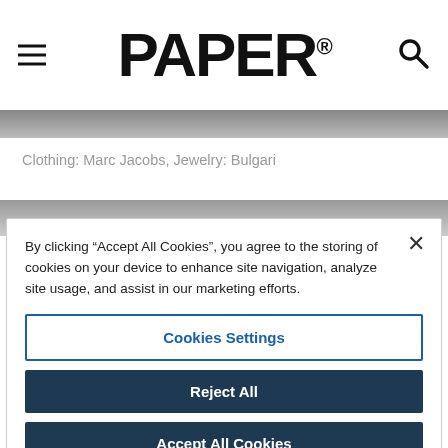PAPER
[Figure (photo): Partial image visible at top of page, cropped]
Clothing: Marc Jacobs, Jewelry: Bulgari
[Figure (photo): Partial image visible below caption, cropped]
By clicking “Accept All Cookies”, you agree to the storing of cookies on your device to enhance site navigation, analyze site usage, and assist in our marketing efforts.
Cookies Settings
Reject All
Accept All Cookies